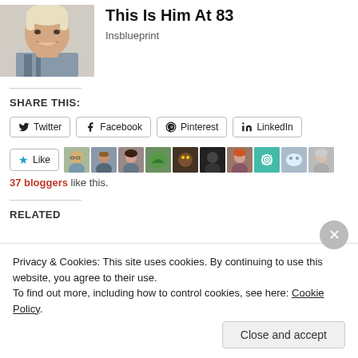[Figure (photo): Headshot of an elderly man with white/blonde hair, smiling, wearing a plaid shirt]
This Is Him At 83
Insblueprint
SHARE THIS:
[Figure (other): Social share buttons: Twitter, Facebook, Pinterest, LinkedIn]
[Figure (other): Like button with star, followed by 10 blogger avatar thumbnails]
37 bloggers like this.
RELATED
Privacy & Cookies: This site uses cookies. By continuing to use this website, you agree to their use.
To find out more, including how to control cookies, see here: Cookie Policy
Close and accept